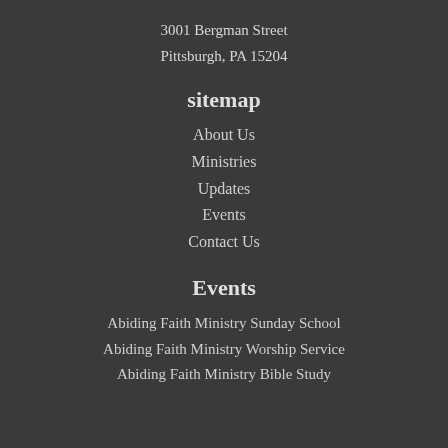3001 Bergman Street
Pittsburgh, PA 15204
sitemap
About Us
Ministries
Updates
Events
Contact Us
Events
Abiding Faith Ministry Sunday School
Abiding Faith Ministry Worship Service
Abiding Faith Ministry Bible Study